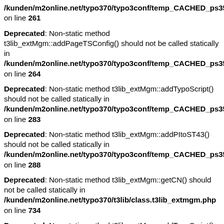/kunden/m2online.net/typo370/typo3conf/temp_CACHED_ps358 on line 261
Deprecated: Non-static method t3lib_extMgm::addPageTSConfig() should not be called statically in /kunden/m2online.net/typo370/typo3conf/temp_CACHED_ps358 on line 264
Deprecated: Non-static method t3lib_extMgm::addTypoScript() should not be called statically in /kunden/m2online.net/typo370/typo3conf/temp_CACHED_ps358 on line 283
Deprecated: Non-static method t3lib_extMgm::addPItoST43() should not be called statically in /kunden/m2online.net/typo370/typo3conf/temp_CACHED_ps358 on line 288
Deprecated: Non-static method t3lib_extMgm::getCN() should not be called statically in /kunden/m2online.net/typo370/t3lib/class.t3lib_extmgm.php on line 734
Deprecated: Non-static method t3lib_extMgm::addTypoScript() should not be called statically in